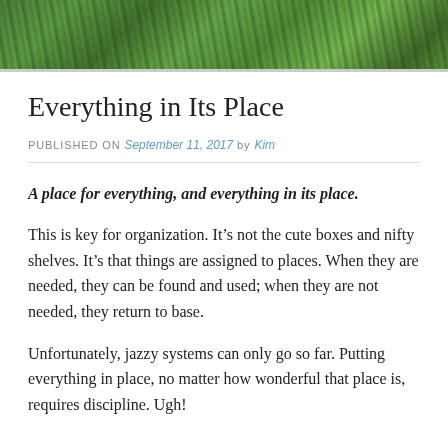[Figure (photo): Green palm/fern foliage photo banner at the top of the page]
Everything in Its Place
PUBLISHED ON September 11, 2017 by Kim
A place for everything, and everything in its place.
This is key for organization. It’s not the cute boxes and nifty shelves. It’s that things are assigned to places. When they are needed, they can be found and used; when they are not needed, they return to base.
Unfortunately, jazzy systems can only go so far. Putting everything in place, no matter how wonderful that place is, requires discipline. Ugh!